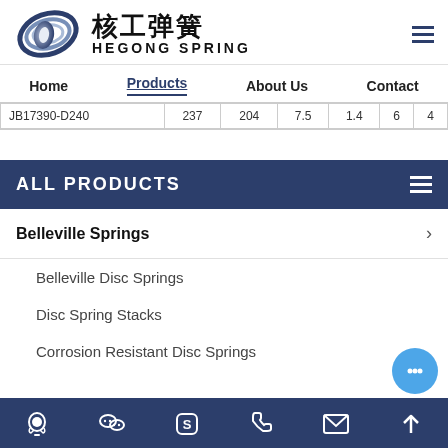核工弹簧 HEGONG SPRING — navigation: Home | Products | About Us | Contact
| Model | Col2 | Col3 | Col4 | Col5 | Col6 | Col7 |
| --- | --- | --- | --- | --- | --- | --- |
| JB17390-D240 | 237 | 204 | 7.5 | 1.4 | 6 | 4 |
ALL PRODUCTS
Belleville Springs
Belleville Disc Springs
Disc Spring Stacks
Corrosion Resistant Disc Springs
Footer icon bar: QQ, WeChat, Skype, Phone, Email, Top